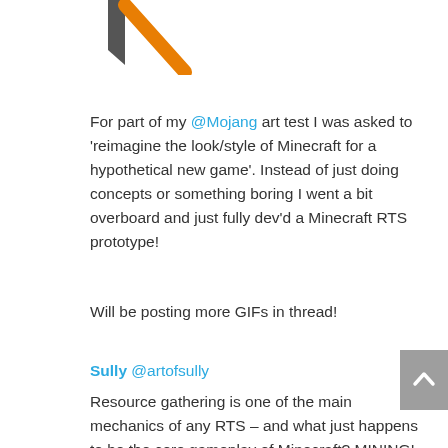[Figure (logo): Partial logo visible at top — dark grey angular shape and orange diagonal stroke/line]
For part of my @Mojang art test I was asked to 'reimagine the look/style of Minecraft for a hypothetical new game'. Instead of just doing concepts or something boring I went a bit overboard and just fully dev'd a Minecraft RTS prototype!
Will be posting more GIFs in thread!
Sully @artofsully
Resource gathering is one of the main mechanics of any RTS – and what just happens to be the core gameplay of Minecraft? MINING! Therefore it was